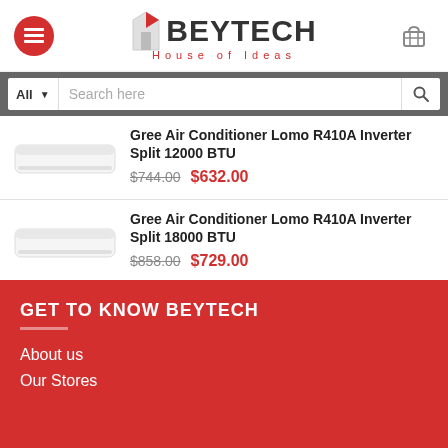BEYTECH House of Ideas
All  Search here
Gree Air Conditioner Lomo R410A Inverter Split 12000 BTU
$744.00  $632.00
Gree Air Conditioner Lomo R410A Inverter Split 18000 BTU
$858.00  $729.00
GET TO KNOW BEYTECH
About us
Our Stores